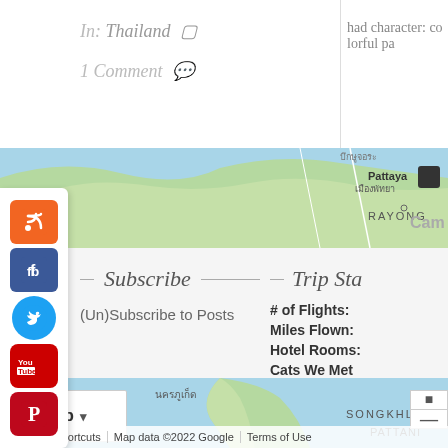In: Thailand  1 Comment
had character: colorful pa
[Figure (map): Google Maps showing Thailand region with Pattaya (เมืองพัทยา) and RAYONG labels visible, green terrain map]
Subscribe
(Un)Subscribe to Posts
Trip Sta
# of Flights:
Miles Flown:
Hotel Rooms:
Cats We Met
[Figure (map): Google Maps bottom section showing Thailand peninsula with นครภูเก็ต (Phuket), SONGKHLA, PATTANI labels, blue water, Map button with dropdown, Google logo, Keyboard shortcuts, Map data ©2022 Google, Terms of Use]